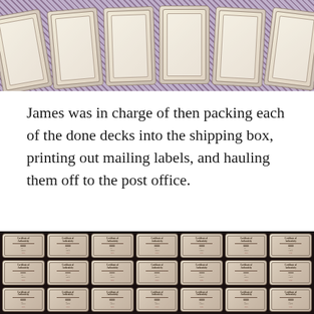[Figure (photo): Photo of multiple certificate of authenticity cards fanned out, viewed from above at an angle, with decorative ornate borders, on a dark background.]
James was in charge of then packing each of the done decks into the shipping box, printing out mailing labels, and hauling them off to the post office.
[Figure (photo): Overhead photo of many certificate of authenticity cards laid out in a grid pattern on a dark surface, showing rows and columns of ornate bordered cards with signatures.]